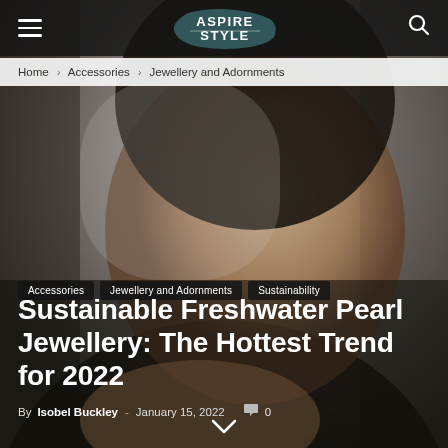Aspire Style
Home › Accessories › Jewellery and Adornments
[Figure (photo): Close-up portrait of a woman with dark hair wearing pearl earrings and a ring, in a grey-toned editorial fashion photo]
Accessories
Jewellery and Adornments
Sustainability
Sustainable Freshwater Pearl Jewellery: The Hottest Trend for 2022
By Isobel Buckley - January 15, 2022  🗨 0